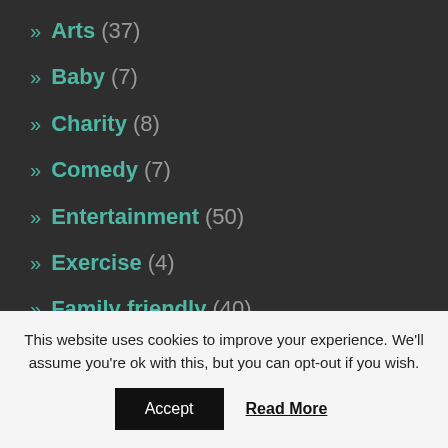» Arts (37)
» Baby (7)
» Charity (8)
» Comedy (7)
» Entertainment (50)
» Exercise (4)
» Family friendly (40)
» Food & Drink (62)
» Museums and galleries (9)
» Music (23)
» Pregnancy (2)
This website uses cookies to improve your experience. We'll assume you're ok with this, but you can opt-out if you wish.
Accept | Read More